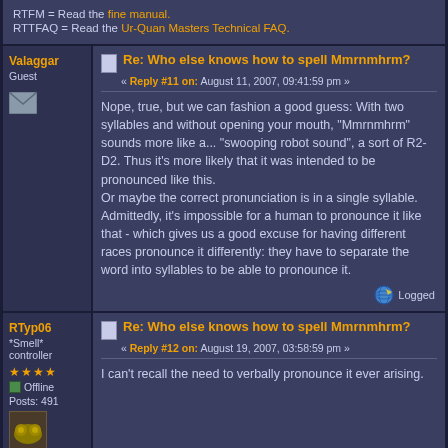RTFM = Read the fine manual.
RTTFAQ = Read the Ur-Quan Masters Technical FAQ.
Re: Who else knows how to spell Mmrnmhrm?
« Reply #11 on: August 11, 2007, 09:41:59 pm »
Nope, true, but we can fashion a good guess: With two syllables and without opening your mouth, "Mmrnmhrm" sounds more like a... "swooping robot sound", a sort of R2-D2. Thus it's more likely that it was intended to be pronounced like this.
Or maybe the correct pronunciation is in a single syllable. Admittedly, it's impossible for a human to pronounce it like that - which gives us a good excuse for having different races pronounce it differently: they have to separate the word into syllables to be able to pronounce it.
Logged
Re: Who else knows how to spell Mmrnmhrm?
« Reply #12 on: August 19, 2007, 03:58:59 pm »
I can't recall the need to verbally pronounce it ever arising.